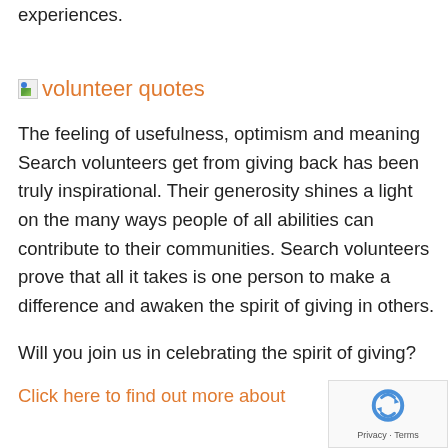experiences.
[Figure (illustration): Broken image placeholder with alt text 'volunteer quotes', displayed as a small broken image icon followed by orange link text]
The feeling of usefulness, optimism and meaning Search volunteers get from giving back has been truly inspirational. Their generosity shines a light on the many ways people of all abilities can contribute to their communities. Search volunteers prove that all it takes is one person to make a difference and awaken the spirit of giving in others.
Will you join us in celebrating the spirit of giving?
Click here to find out more about